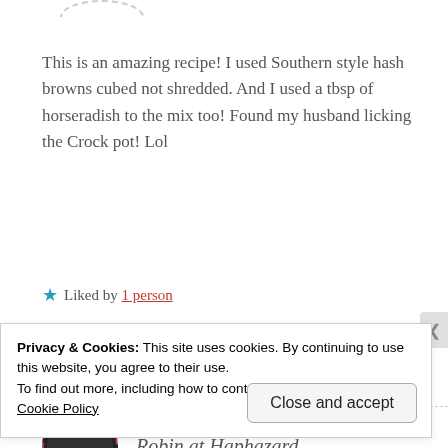[Figure (illustration): Partial view of a circular avatar at the top of the page, shown with a dashed border]
This is an amazing recipe! I used Southern style hash browns cubed not shredded. And I used a tbsp of horseradish to the mix too! Found my husband licking the Crock pot! Lol
★ Liked by 1 person
Reply
[Figure (illustration): Partial view of a circular avatar with dashed red border showing a dark profile image, next to the text 'Robin at Haphazard']
Robin at Haphazard
Privacy & Cookies: This site uses cookies. By continuing to use this website, you agree to their use.
To find out more, including how to control cookies, see here:
Cookie Policy
Close and accept